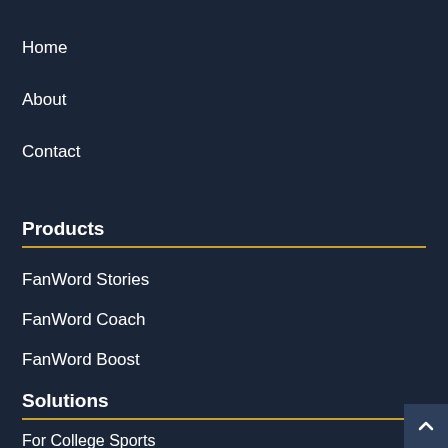Home
About
Contact
Products
FanWord Stories
FanWord Coach
FanWord Boost
Solutions
For College Sports
For Professional Sports